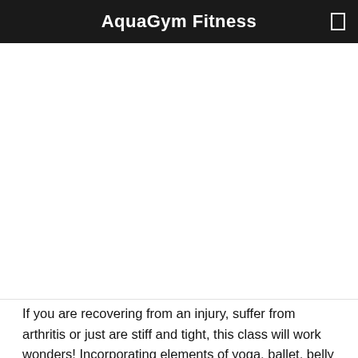AquaGym Fitness
[Figure (other): Large white/blank image area below the header navigation bar]
If you are recovering from an injury, suffer from arthritis or just are stiff and tight, this class will work wonders! Incorporating elements of yoga, ballet, belly dancing, physical therapy and strength